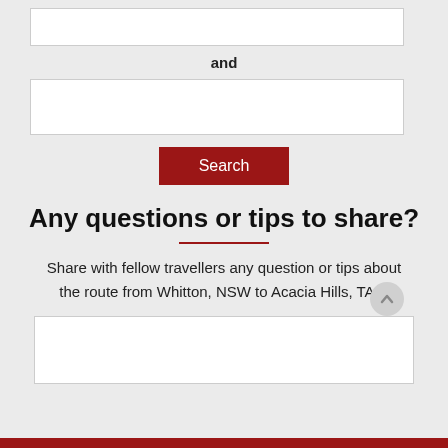and
Search
Any questions or tips to share?
Share with fellow travellers any question or tips about the route from Whitton, NSW to Acacia Hills, TAS: